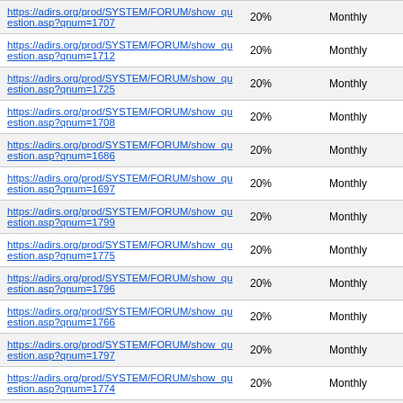| https://adirs.org/prod/SYSTEM/FORUM/show_question.asp?qnum=1707 | 20% | Monthly |
| https://adirs.org/prod/SYSTEM/FORUM/show_question.asp?qnum=1712 | 20% | Monthly |
| https://adirs.org/prod/SYSTEM/FORUM/show_question.asp?qnum=1725 | 20% | Monthly |
| https://adirs.org/prod/SYSTEM/FORUM/show_question.asp?qnum=1708 | 20% | Monthly |
| https://adirs.org/prod/SYSTEM/FORUM/show_question.asp?qnum=1686 | 20% | Monthly |
| https://adirs.org/prod/SYSTEM/FORUM/show_question.asp?qnum=1697 | 20% | Monthly |
| https://adirs.org/prod/SYSTEM/FORUM/show_question.asp?qnum=1799 | 20% | Monthly |
| https://adirs.org/prod/SYSTEM/FORUM/show_question.asp?qnum=1775 | 20% | Monthly |
| https://adirs.org/prod/SYSTEM/FORUM/show_question.asp?qnum=1796 | 20% | Monthly |
| https://adirs.org/prod/SYSTEM/FORUM/show_question.asp?qnum=1766 | 20% | Monthly |
| https://adirs.org/prod/SYSTEM/FORUM/show_question.asp?qnum=1797 | 20% | Monthly |
| https://adirs.org/prod/SYSTEM/FORUM/show_question.asp?qnum=1774 | 20% | Monthly |
| https://adirs.org/prod/SYSTEM/FORUM/show_question.asp?qnum=... | 20% | Monthly |